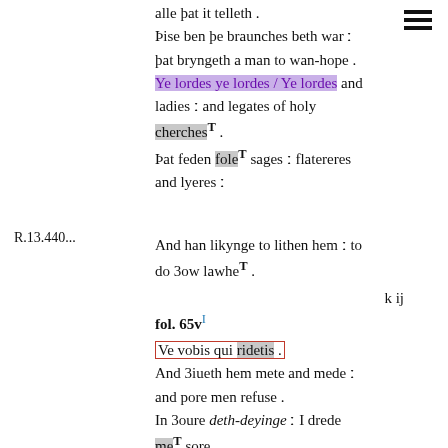[Figure (other): Hamburger menu icon (three horizontal bars) in top right corner]
alle þat it telleth .
Þise ben þe braunches beth war ː
þat bryngeth a man to wan-hope .
Ye lordes ye lordes / Ye lordes and ladies ː and legates of holy cherchesT .
Þat feden foleT sages ː flatereres and lyeres ː
R.13.440...
And han likynge to lithen hem ː to do 3ow lawheT .
k ij
fol. 65vI
Ve vobis qui ridetis .
And 3iueth hem mete and mede ː and pore men refuse .
In 3oure deth-deyinge ː I drede meT sore .